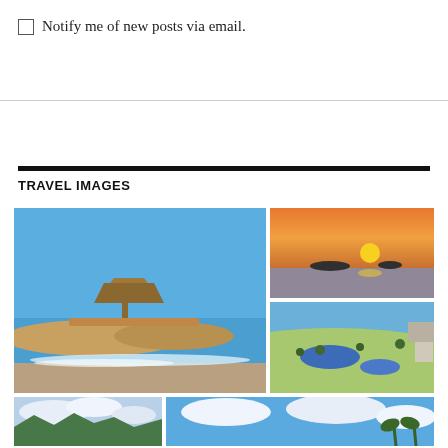Notify me of new posts via email.
TRAVEL IMAGES
[Figure (photo): Beach with rocky pier/jetty and palapa hut structure, blue sky, ocean waves]
[Figure (photo): Sunset over ocean with silhouetted islands on horizon]
[Figure (photo): Aerial view of beach resort with swimming pools, palm trees, and curved bay]
[Figure (photo): Partial view of mountainous coastline with clouds]
[Figure (photo): Partial view of blue sky with white clouds and palm trees]